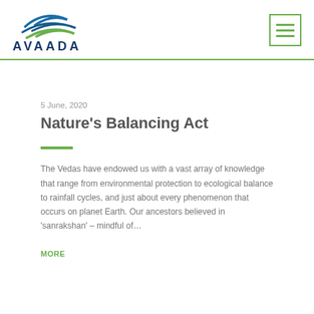[Figure (logo): Avaada company logo with stylized fish/leaf shapes in blue and green above the text AVAADA in dark blue capital letters]
5 June, 2020
Nature’s Balancing Act
The Vedas have endowed us with a vast array of knowledge that range from environmental protection to ecological balance to rainfall cycles, and just about every phenomenon that occurs on planet Earth. Our ancestors believed in ‘sanrakshan’ – mindful of…
MORE